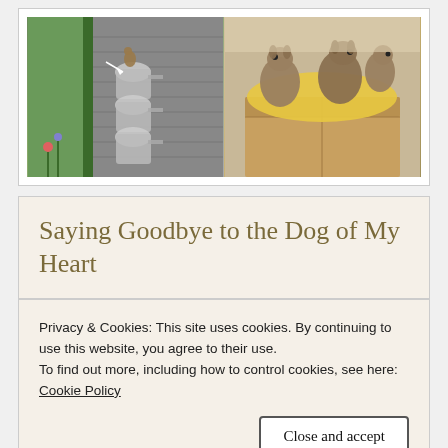[Figure (photo): Two photos side by side: left shows a squirrel climbing on stacked metal watering cans on a green house exterior; right shows baby squirrels in a cardboard box lined with yellow fabric.]
Saying Goodbye to the Dog of My Heart
Privacy & Cookies: This site uses cookies. By continuing to use this website, you agree to their use.
To find out more, including how to control cookies, see here:
Cookie Policy
Close and accept
[Figure (photo): Partial bottom strip showing animal photos.]